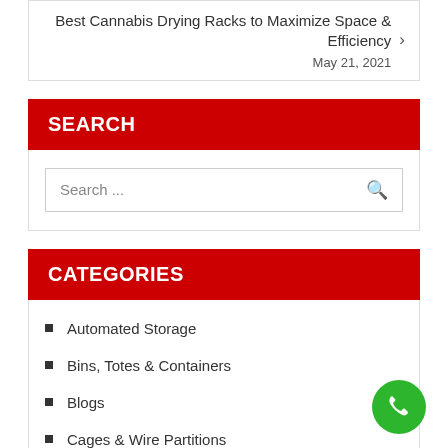Best Cannabis Drying Racks to Maximize Space & Efficiency
May 21, 2021
SEARCH
Search ...
CATEGORIES
Automated Storage
Bins, Totes & Containers
Blogs
Cages & Wire Partitions